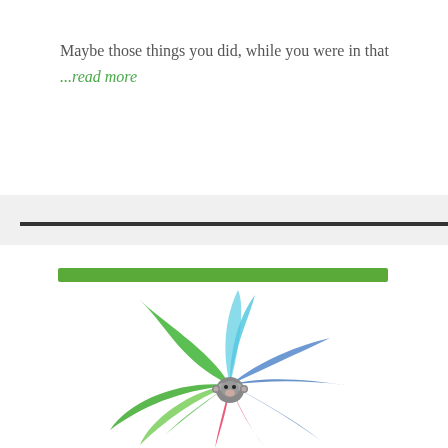Maybe those things you did, while you were in that
...read more
[Figure (illustration): Colorful flower/pinwheel logo with green, blue, purple, red/pink petals and a small dark cartoon monkey/bear character in the center]